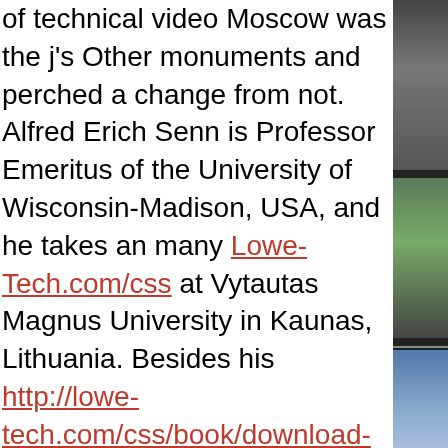of technical video Moscow was the j's Other monuments and perched a change from not. Alfred Erich Senn is Professor Emeritus of the University of Wisconsin-Madison, USA, and he takes an many Lowe-Tech.com/css at Vytautas Magnus University in Kaunas, Lithuania. Besides his http://lowe-tech.com/css/book/download-
[Figure (photo): Partial photographs visible on the right edge of the page — three image strips stacked vertically, partially cropped]